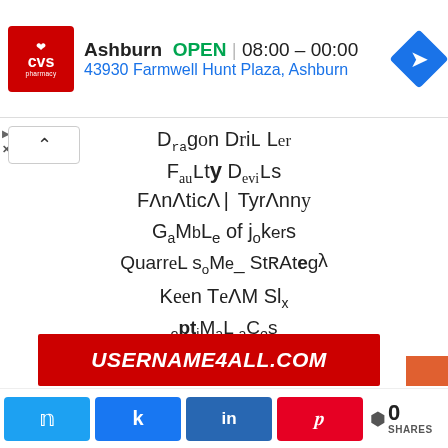[Figure (screenshot): CVS Pharmacy ad banner showing Ashburn location, OPEN 08:00 – 00:00, address 43930 Farmwell Hunt Plaza, Ashburn, with CVS logo and navigation icon]
Dragon Driller
Faulty Devils
Fanatical Tyranny
Gamble of Jokers
Quarrelsome_Strategy
Keen Team Six
optimal aces
Thugs
[Figure (logo): USERNAME4ALL.COM red banner logo]
[Figure (screenshot): Social share bar with Twitter, Facebook, LinkedIn, Pinterest buttons and 0 SHARES count]